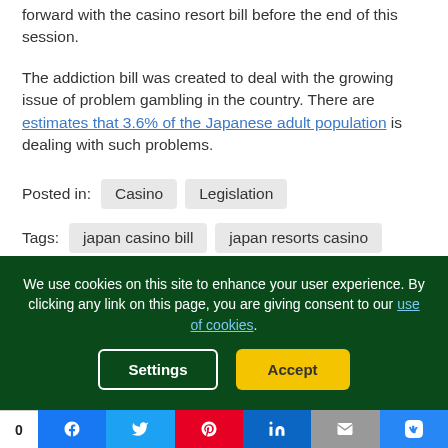forward with the casino resort bill before the end of this session.
The addiction bill was created to deal with the growing issue of problem gambling in the country. There are estimates that 3.6% of the Japanese adult population is dealing with such problems.
Posted in: Casino  Legislation
Tags: japan casino bill  japan resorts casino
We use cookies on this site to enhance your user experience. By clicking any link on this page, you are giving consent to our use of cookies.